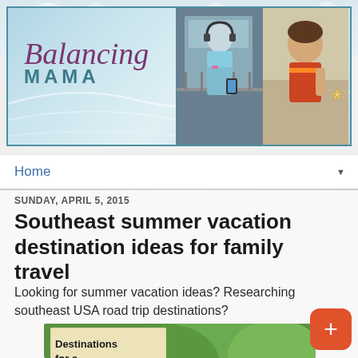[Figure (screenshot): Balancing Mama blog header banner with teal/blue watercolor background, script logo text 'Balancing MAMA', and two photos of people on the right side]
Home
SUNDAY, APRIL 5, 2015
Southeast summer vacation destination ideas for family travel
Looking for summer vacation ideas? Researching southeast USA road trip destinations?
[Figure (photo): Partial image of a sign reading 'Destinations for a Southeast...' with green trees/foliage in background]